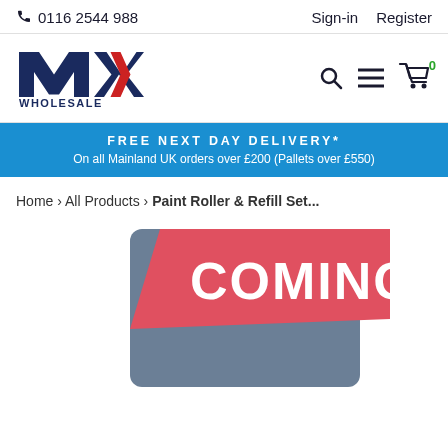0116 2544 988  Sign-in  Register
[Figure (logo): MX Wholesale logo — dark blue letters M and X with red chevron arrow, text WHOLESALE below]
FREE NEXT DAY DELIVERY*
On all Mainland UK orders over £200 (Pallets over £550)
Home › All Products › Paint Roller & Refill Set...
[Figure (illustration): Coming soon placeholder image — blue-grey card with red diagonal banner showing text COMING]